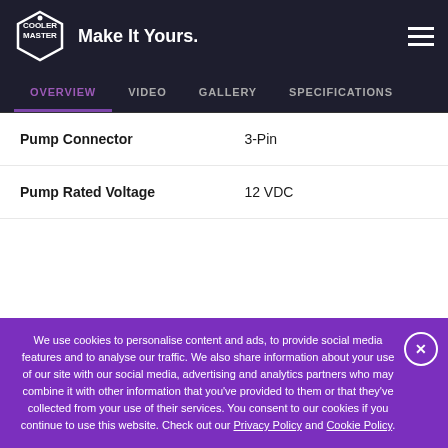[Figure (logo): Cooler Master logo — white hexagonal badge with 'COOLER MASTER' text inside]
Make It Yours.
OVERVIEW | VIDEO | GALLERY | SPECIFICATIONS
| Spec | Value |
| --- | --- |
| Pump Connector | 3-Pin |
| Pump Rated Voltage | 12 VDC |
We use cookies to personalise content and ads, to provide social media features and to analyse our traffic. We also share information about your use of our site with our social media, advertising and analytics partners who may combine it with other information that you've provided to them or that they've collected from your use of their services. You consent to our cookies if you continue to use this website. Check out our Privacy Policy and Cookie Policy.